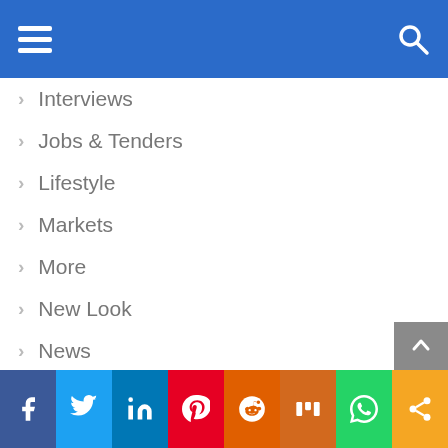Navigation menu header bar with hamburger menu and search icon
Interviews
Jobs & Tenders
Lifestyle
Markets
More
New Look
News
Oil & Gas
Opportunities
Political Economy
Real Estate
Sports
Social share bar: Facebook, Twitter, LinkedIn, Pinterest, Reddit, Mix, WhatsApp, Share